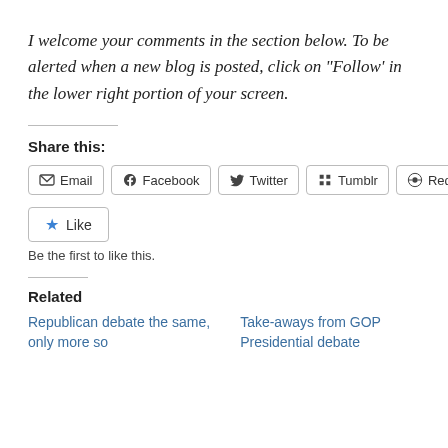I welcome your comments in the section below. To be alerted when a new blog is posted, click on “Follow’ in the lower right portion of your screen.
Share this:
Email | Facebook | Twitter | Tumblr | Reddit
Like
Be the first to like this.
Related
Republican debate the same, only more so
Take-aways from GOP Presidential debate